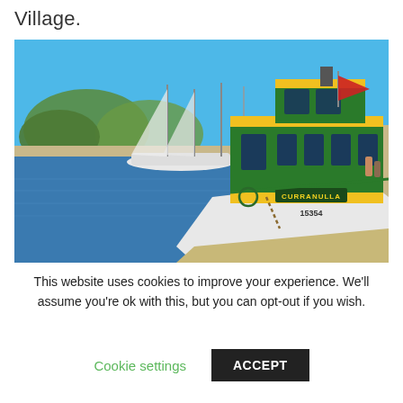Village.
[Figure (photo): A green, yellow and white ferry boat named CURRANULLA with number 15354, docked at a marina pier. Sailboats and trees visible in the background under a clear blue sky.]
This website uses cookies to improve your experience. We'll assume you're ok with this, but you can opt-out if you wish.
Cookie settings   ACCEPT